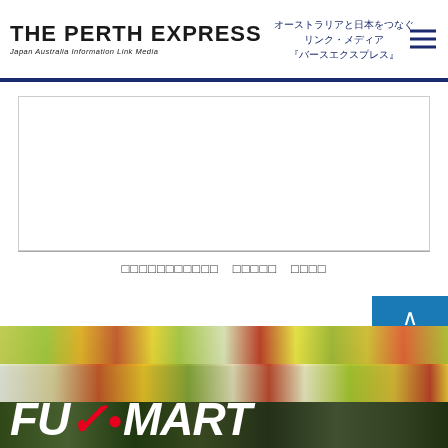THE PERTH EXPRESS — Japan Australia Information Link Media / オーストラリアと日本をつなぐ リンク・メディア 『バースエクスプレス』
[Figure (other): Advertisement/content placeholder box with horizontal divider and Japanese text row]
more
[Figure (photo): Fujimart store banner showing shelves with Japanese food products and the FU/i MART logo overlaid in large black and white italic text with red checkmark and dot accent]